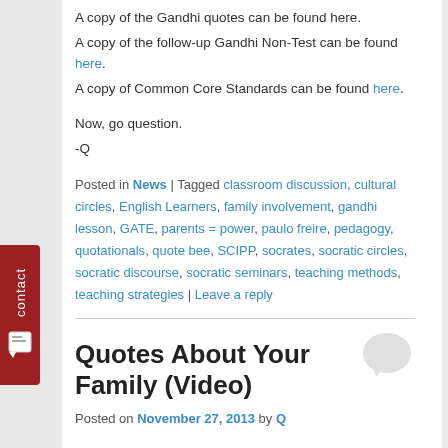A copy of the Gandhi quotes can be found here.
A copy of the follow-up Gandhi Non-Test can be found here.
A copy of Common Core Standards can be found here.
Now, go question.
-Q
Posted in News | Tagged classroom discussion, cultural circles, English Learners, family involvement, gandhi lesson, GATE, parents = power, paulo freire, pedagogy, quotationals, quote bee, SCIPP, socrates, socratic circles, socratic discourse, socratic seminars, teaching methods, teaching strategies | Leave a reply
Quotes About Your Family (Video)
Posted on November 27, 2013 by Q